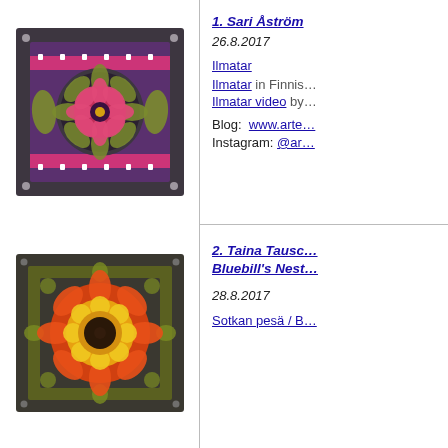[Figure (photo): Crochet square with dark gray border, purple inner square, pink zigzag band, olive/yellow-green corner leaves, and a circular mandala center in pink, olive, and dark colors.]
1. Sari Åström
26.8.2017
Ilmatar
Ilmatar in Finnis…
Ilmatar video by…
Blog:  www.arte…
Instagram: @ar…
[Figure (photo): Crochet square with dark gray border, olive green inner square, and a large circular sunflower-like motif in orange, yellow, gold, and dark brown center.]
2. Taina Tausc… Bluebill's Nest…
28.8.2017
Sotkan pesä / B…